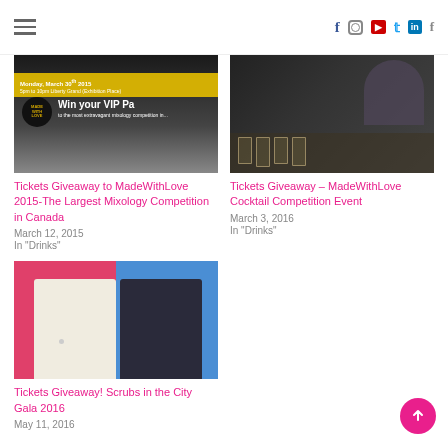Navigation and social icons header
[Figure (photo): MadeWithLove 2015 event promotional banner with yellow overlay, Monday March 30th 2015, Win your VIP Pass text]
Tickets Giveaway to MadeWithLove 2015-The Largest Mixology Competition in Canada
March 12, 2015
In "Drinks"
[Figure (photo): Man pouring drinks at a cocktail competition event, glasses on table in dark atmospheric setting]
Tickets Giveaway – MadeWithLove Cocktail Competition Event
March 3, 2016
In "Drinks"
[Figure (photo): A split pink/blue background with a white blazer jacket on one side and a dark embellished jacket on the other]
Tickets Giveaway! Scrubs in the City Gala 2016
May 11, 2016